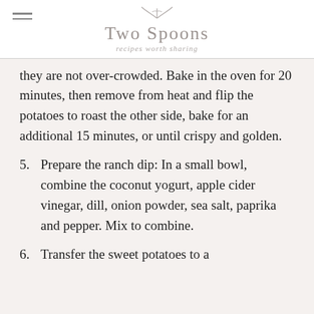Two Spoons — recipes worth sharing
they are not over-crowded. Bake in the oven for 20 minutes, then remove from heat and flip the potatoes to roast the other side, bake for an additional 15 minutes, or until crispy and golden.
5. Prepare the ranch dip: In a small bowl, combine the coconut yogurt, apple cider vinegar, dill, onion powder, sea salt, paprika and pepper. Mix to combine.
6. Transfer the sweet potatoes to a